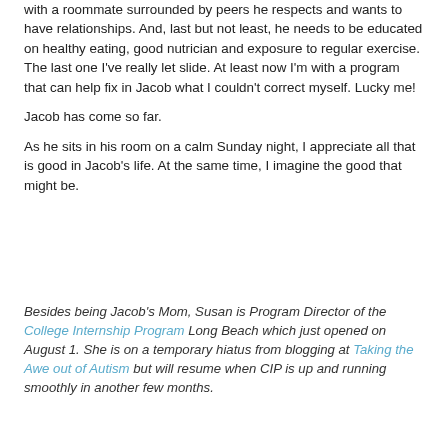with a roommate surrounded by peers he respects and wants to have relationships.  And, last but not least, he needs to be educated on healthy eating, good nutrician and exposure to regular exercise.  The last one I've really let slide.  At least now I'm with a program that can help fix in Jacob what I couldn't correct myself.  Lucky me!

Jacob has come so far.

As he sits in his room on a calm Sunday night, I appreciate all that is good in Jacob's life.  At the same time, I imagine the good that might be.
Besides being Jacob's Mom, Susan is Program Director of the College Internship Program Long Beach which just opened on August 1.  She is on a temporary hiatus from blogging at Taking the Awe out of Autism but will resume when CIP is up and running smoothly in another few months.